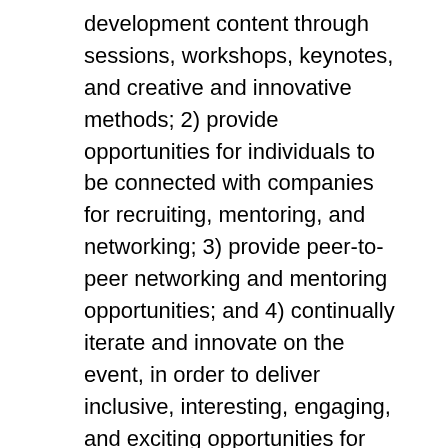development content through sessions, workshops, keynotes, and creative and innovative methods; 2) provide opportunities for individuals to be connected with companies for recruiting, mentoring, and networking; 3) provide peer-to-peer networking and mentoring opportunities; and 4) continually iterate and innovate on the event, in order to deliver inclusive, interesting, engaging, and exciting opportunities for participants.
IEEE WIE ILC consistently has attendees from nearly 50 countries, with greater than 90% professional attendees with more than 2 years experience. IEEE WIE ILC partner funds support over 80 change-maker, volunteer grants for students, graduate students and young professionals from around the world.